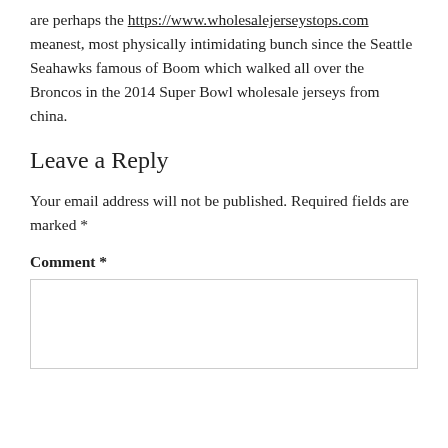are perhaps the https://www.wholesalejerseystops.com meanest, most physically intimidating bunch since the Seattle Seahawks famous of Boom which walked all over the Broncos in the 2014 Super Bowl wholesale jerseys from china.
Leave a Reply
Your email address will not be published. Required fields are marked *
Comment *